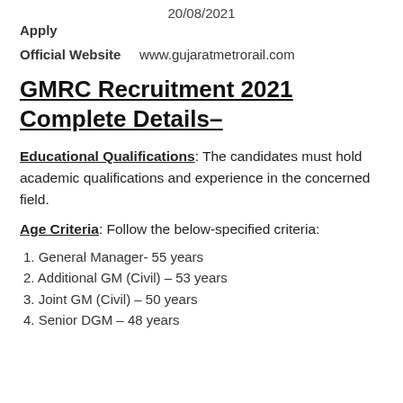20/08/2021
Apply
Official Website    www.gujaratmetrorail.com
GMRC Recruitment 2021 Complete Details–
Educational Qualifications: The candidates must hold academic qualifications and experience in the concerned field.
Age Criteria: Follow the below-specified criteria:
1. General Manager- 55 years
2. Additional GM (Civil) – 53 years
3. Joint GM (Civil) – 50 years
4. Senior DGM – 48 years